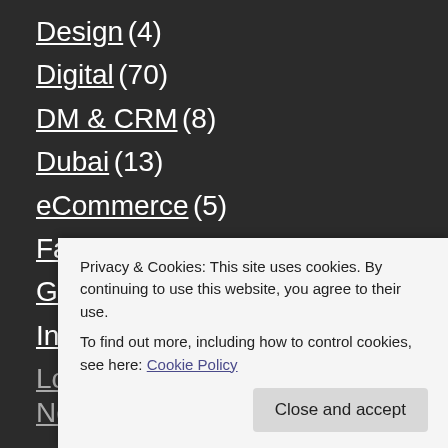Design (4)
Digital (70)
DM & CRM (8)
Dubai (13)
eCommerce (5)
Family (5)
Gadgets (13)
Influence (8)
London (7)
New York (20)
Privacy & Cookies: This site uses cookies. By continuing to use this website, you agree to their use. To find out more, including how to control cookies, see here: Cookie Policy
Close and accept